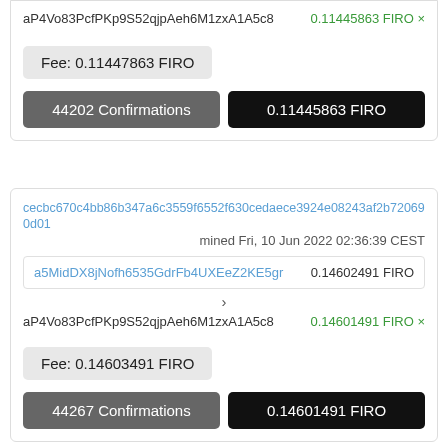aP4Vo83PcfPKp9S52qjpAeh6M1zxA1A5c8   0.11445863 FIRO ×
Fee: 0.11447863 FIRO
44202 Confirmations   0.11445863 FIRO
cecbc670c4bb86b347a6c3559f6552f630cedaece3924e08243af2b720690d01
mined Fri, 10 Jun 2022 02:36:39 CEST
a5MidDX8jNofh6535GdrFb4UXEeZ2KE5gr   0.14602491 FIRO
aP4Vo83PcfPKp9S52qjpAeh6M1zxA1A5c8   0.14601491 FIRO ×
Fee: 0.14603491 FIRO
44267 Confirmations   0.14601491 FIRO